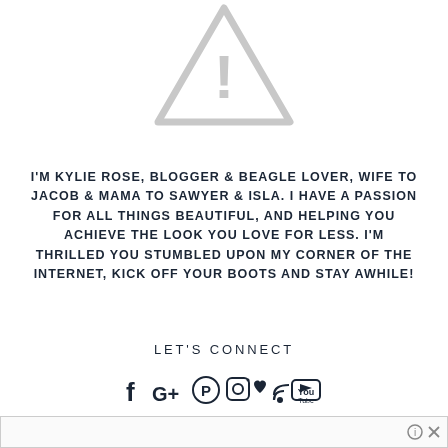[Figure (illustration): Gray warning triangle icon with exclamation mark, indicating a missing or broken image]
I'M KYLIE ROSE, BLOGGER & BEAGLE LOVER, WIFE TO JACOB & MAMA TO SAWYER & ISLA. I HAVE A PASSION FOR ALL THINGS BEAUTIFUL, AND HELPING YOU ACHIEVE THE LOOK YOU LOVE FOR LESS. I'M THRILLED YOU STUMBLED UPON MY CORNER OF THE INTERNET, KICK OFF YOUR BOOTS AND STAY AWHILE!
LET'S CONNECT
[Figure (illustration): Row of social media icons: Facebook, Google+, Pinterest, Instagram, Heart/Bloglovin, RSS, YouTube]
[Figure (other): Advertisement bar at the bottom with info and close icons]